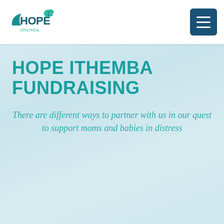HOPE Ithemba logo and navigation menu
HOPE ITHEMBA FUNDRAISING
There are different ways to partner with us in our quest to support moms and babies in distress